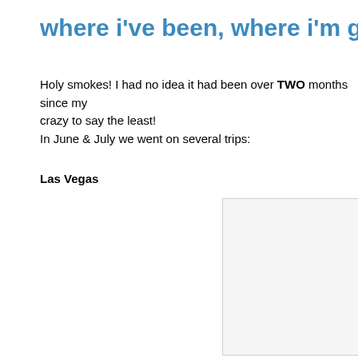where i've been, where i'm going
Holy smokes! I had no idea it had been over TWO months since my crazy to say the least!
In June & July we went on several trips:
Las Vegas
[Figure (photo): A photo placeholder/image on the right side of the page, partially visible]